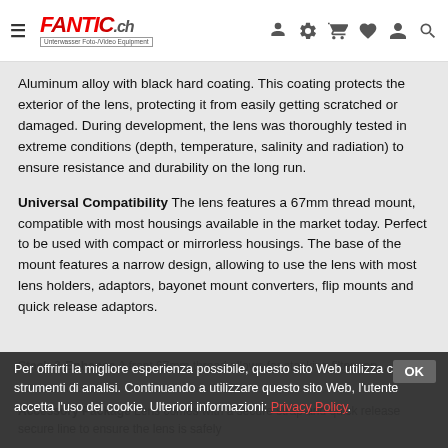Fantic.ch - Unterwasser Foto-/Video Equipment
Aluminum alloy with black hard coating. This coating protects the exterior of the lens, protecting it from easily getting scratched or damaged. During development, the lens was thoroughly tested in extreme conditions (depth, temperature, salinity and radiation) to ensure resistance and durability on the long run.
Universal Compatibility The lens features a 67mm thread mount, compatible with most housings available in the market today. Perfect to be used with compact or mirrorless housings. The base of the mount features a narrow design, allowing to use the lens with most lens holders, adaptors, bayonet mount converters, flip mounts and quick release adaptors.
Stack & Enhance A front 67mm thread allows for stacking filters on...
Accessory Package Lens comes with a secure strap and quick release secure line to ensure the lens is safely...
Per offrirti la migliore esperienza possibile, questo sito Web utilizza cookie e strumenti di analisi. Continuando a utilizzare questo sito Web, l'utente accetta l'uso dei cookie. Ulteriori informazioni: Privacy Policy.